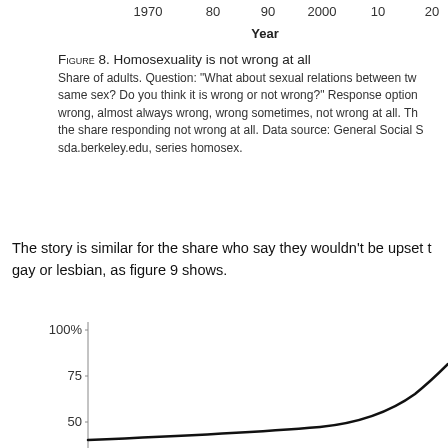[Figure (continuous-plot): Top of a line chart showing years on x-axis (1970, 80, 90, 2000, 10, 20) with 'Year' label, partially visible at top of page. This is the bottom portion of Figure 8.]
Figure 8. Homosexuality is not wrong at all
Share of adults. Question: "What about sexual relations between two adults of the same sex? Do you think it is wrong or not wrong?" Response options: always wrong, almost always wrong, wrong sometimes, not wrong at all. The figure shows the share responding not wrong at all. Data source: General Social Survey, sda.berkeley.edu, series homosex.
The story is similar for the share who say they wouldn't be upset to learn a family member is gay or lesbian, as figure 9 shows.
[Figure (continuous-plot): Bottom portion of a line chart (Figure 9) showing a rising trend line. Y-axis shows 100%, 75, 50. The line curves upward steeply toward the right side of the chart.]